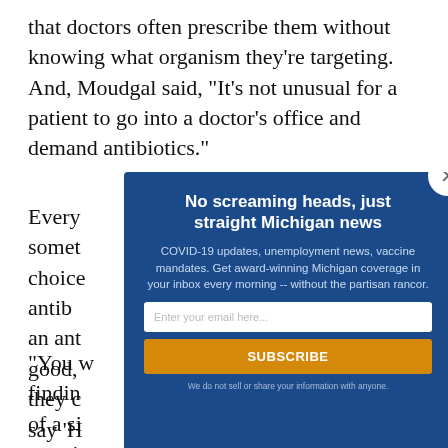that doctors often prescribe them without knowing what organism they’re targeting. And, Moudgal said, “It’s not unusual for a patient to go into a doctor’s office and demand antibiotics.”
Every [some] choice [anti] an an[ti] good, they c[ould] say ‘H[...]’
“You w[...] findin[g] of a s[...] tract i[...]
[Figure (screenshot): Modal popup with dark blue background. Title: 'No screaming heads, just straight Michigan news'. Body text: 'COVID-19 updates, unemployment news, vaccine mandates. Get award-winning Michigan coverage in your inbox every morning -- without the partisan rancor.' Email input field with placeholder 'Enter your email here...' Orange subscribe button labeled 'SUBSCRIBE'. Footer: 'We do not sell or share your information with anyone.' Close button (X) in top-right corner.]